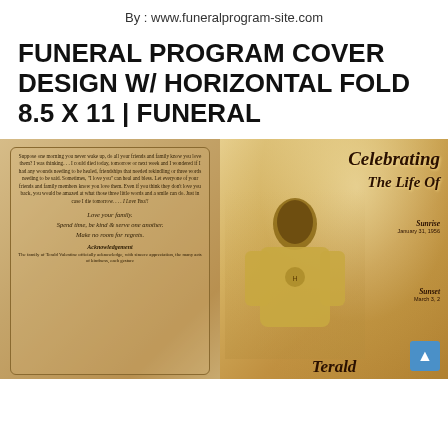By : www.funeralprogram-site.com
FUNERAL PROGRAM COVER DESIGN W/ HORIZONTAL FOLD 8.5 X 11 | FUNERAL
[Figure (photo): Funeral program cover design showing two panels: left panel with a scroll/text area containing a poem about telling loved ones you love them and an acknowledgement section; right panel showing 'Celebrating The Life Of' in italic script with Sunrise January 31, 1956 and Sunset March 3, [year], with a photo of a man in a yellow shirt and partial name 'Terald' visible at bottom.]